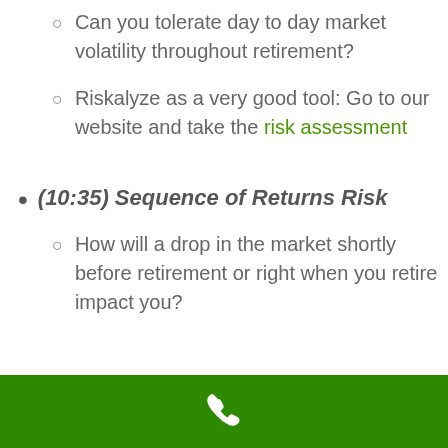Can you tolerate day to day market volatility throughout retirement?
Riskalyze as a very good tool: Go to our website and take the risk assessment
(10:35) Sequence of Returns Risk
How will a drop in the market shortly before retirement or right when you retire impact you?
[Figure (illustration): White phone icon on green background footer bar]